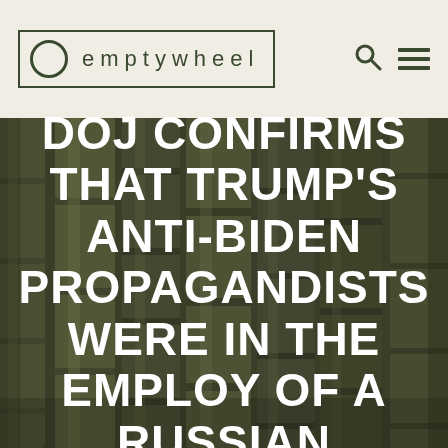emptywheel
[Figure (photo): Background photo of bamboo stalks with dark olive/green tones]
DOJ CONFIRMS THAT TRUMP'S ANTI-BIDEN PROPAGANDISTS WERE IN THE EMPLOY OF A RUSSIAN